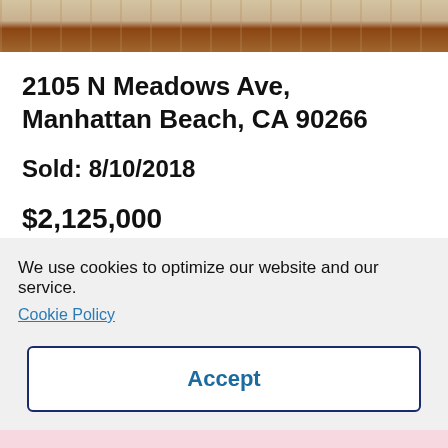[Figure (photo): Partial view of a building exterior with beige/cream wall and brick bottom, cropped at top of page]
2105 N Meadows Ave, Manhattan Beach, CA 90266
Sold: 8/10/2018
$2,125,000
We use cookies to optimize our website and our service.
Cookie Policy
Accept